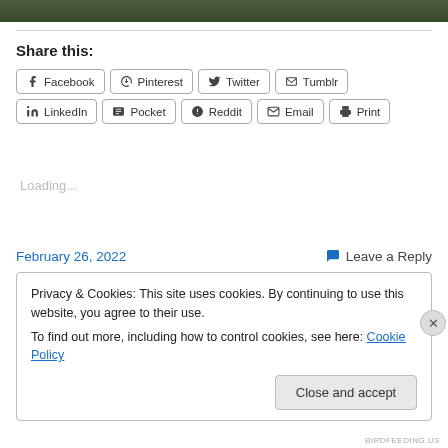[Figure (photo): Green foliage image strip at top of page]
Share this:
Facebook  Pinterest  Twitter  Tumblr  LinkedIn  Pocket  Reddit  Email  Print
Loading...
February 26, 2022
Leave a Reply
Privacy & Cookies: This site uses cookies. By continuing to use this website, you agree to their use.
To find out more, including how to control cookies, see here: Cookie Policy
Close and accept